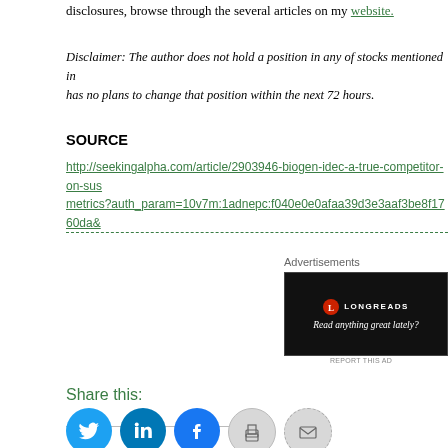disclosures, browse through the several articles on my website.
Disclaimer: The author does not hold a position in any of stocks mentioned in has no plans to change that position within the next 72 hours.
SOURCE
http://seekingalpha.com/article/2903946-biogen-idec-a-true-competitor-on-sus metrics?auth_param=10v7m:1adnepc:f040e0e0afaa39d3e3aaf3be8f1760da&
Advertisements
[Figure (screenshot): Longreads advertisement: black background with Longreads logo and text 'Read anything great lately?']
Share this:
[Figure (infographic): Social share buttons: Twitter, LinkedIn, Facebook, Print, Email]
Advertisements
[Figure (photo): Victoria's Secret advertisement: Shop The Collection - Shop Now]